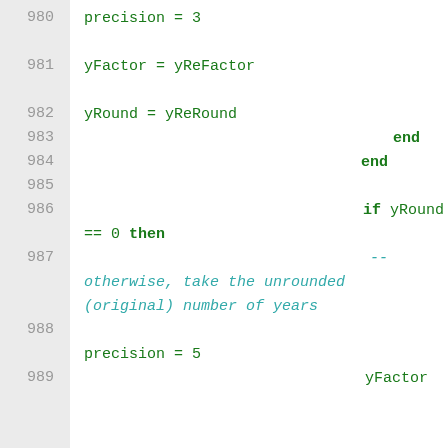980  precision = 3
981  yFactor = yReFactor
982  yRound = yReRound
983                              end
984                          end
985
986                          if yRound == 0 then
987                              -- otherwise, take the unrounded (original) number of years
988  precision = 5
989                              yFactor